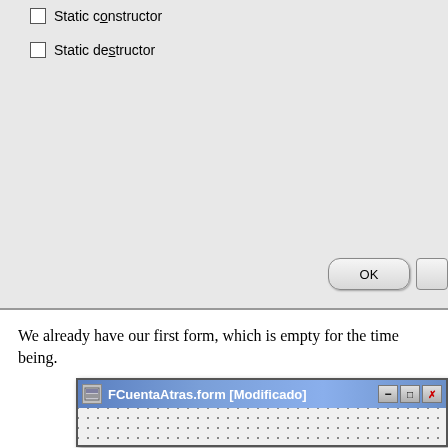[Figure (screenshot): Top portion of a dialog box with two unchecked checkboxes labeled 'Static constructor' and 'Static destructor', with an OK button at the bottom right]
We already have our first form, which is empty for the time being.
[Figure (screenshot): A form designer window titled 'FCuentaAtras.form [Modificado]' showing an empty form with dotted grid background and minimize/maximize/close buttons]